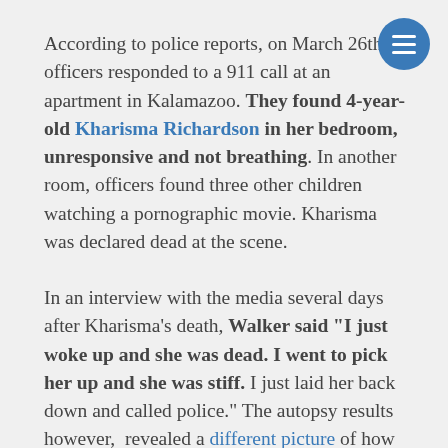According to police reports, on March 26th, officers responded to a 911 call at an apartment in Kalamazoo. They found 4-year-old Kharisma Richardson in her bedroom, unresponsive and not breathing. In another room, officers found three other children watching a pornographic movie. Kharisma was declared dead at the scene.
In an interview with the media several days after Kharisma's death, Walker said "I just woke up and she was dead. I went to pick her up and she was stiff. I just laid her back down and called police." The autopsy results however, revealed a different picture of how Kharisma died.